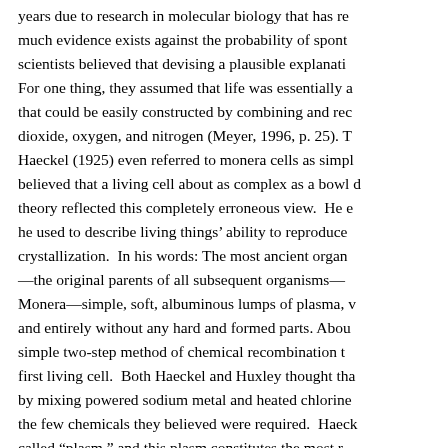years due to research in molecular biology that has re much evidence exists against the probability of spont scientists believed that devising a plausible explanati For one thing, they assumed that life was essentially a that could be easily constructed by combining and rec dioxide, oxygen, and nitrogen (Meyer, 1996, p. 25). T Haeckel (1925) even referred to monera cells as simpl believed that a living cell about as complex as a bowl d theory reflected this completely erroneous view. He e he used to describe living things' ability to reproduce crystallization. In his words: The most ancient organ —the original parents of all subsequent organisms— Monera—simple, soft, albuminous lumps of plasma, v and entirely without any hard and formed parts. Abou simple two-step method of chemical recombination t first living cell. Both Haeckel and Huxley thought tha by mixing powered sodium metal and heated chlorine the few chemicals they believed were required. Haeck called “plasm,” and this plasm constitutes the most r